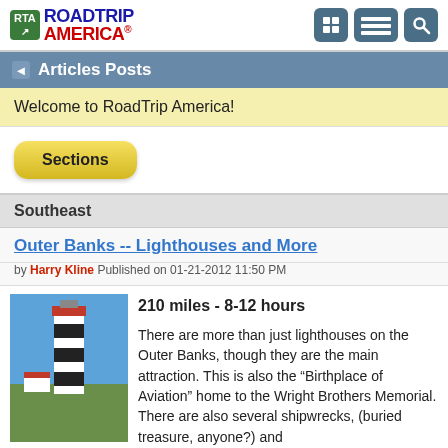RTA ROADTRIP AMERICA
Articles Posts
Welcome to RoadTrip America!
Sections
Southeast
Outer Banks -- Lighthouses and More
by Harry Kline Published on 01-21-2012 11:50 PM
[Figure (photo): Black and white striped lighthouse against blue sky with small white building at base]
210 miles - 8-12 hours

There are more than just lighthouses on the Outer Banks, though they are the main attraction. This is also the “Birthplace of Aviation” home to the Wright Brothers Memorial. There are also several shipwrecks, (buried treasure, anyone?) and